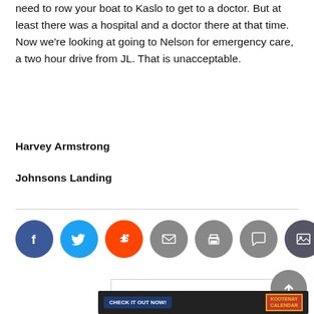need to row your boat to Kaslo to get to a doctor. But at least there was a hospital and a doctor there at that time. Now we're looking at going to Nelson for emergency care, a two hour drive from JL. That is unacceptable.
Harvey Armstrong
Johnsons Landing
[Figure (other): Social sharing icons: Facebook (blue), Twitter (light blue), Reddit (orange), Email (gray), Print (gray), Comment (gray), Image/gallery (dark gray)]
[Figure (other): Advertisement box with Kootenay Calendar banner: CHECK IT OUT NOW! button and KOOTENAY CALENDAR label]